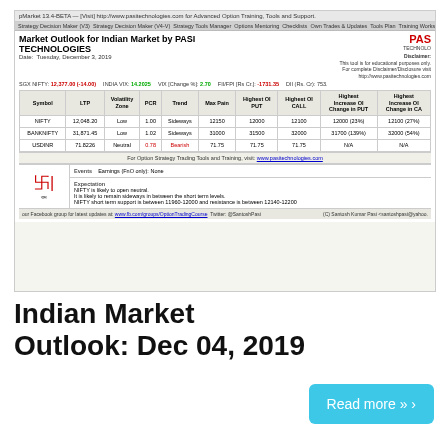[Figure (screenshot): Screenshot of Market Outlook for Indian Market by PASI TECHNOLOGIES web application showing a table with NIFTY, BANKNIFTY, and USDINR data including LTP, Volatility Zone, PCR, Trend, Max Pain, Highest OI PUT, Highest OI CALL, and Highest Increase OI Change columns. Date: Tuesday, December 3, 2019. Events: Earnings (FnO only): None. Expectation: NIFTY is likely to open neutral, sideway movement expected.]
Indian Market Outlook: Dec 04, 2019
Read more » ›